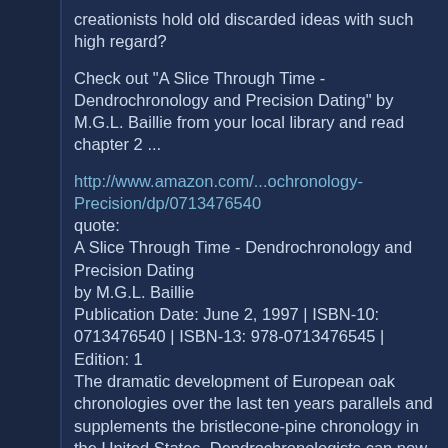creationists hold old discarded ideas with such high regard?
Check out "A Slice Through Time - Dendrochronology and Precision Dating" by M.G.L. Baillie from your local library and read chapter 2 ...
http://www.amazon.com/...ochronology-Precision/dp/0713476540
quote:
A Slice Through Time - Dendrochronology and Precision Dating
by M.G.L. Baillie
Publication Date: June 2, 1997 | ISBN-10: 0713476540 | ISBN-13: 978-0713476545 | Edition: 1
The dramatic development of European oak chronologies over the last ten years parallels and supplements the bristlecone-pine chronology in the United States. Dendrochronologists can now provide a wood sample - a time capsule of biological material - for any calender date over the last seven millennia from two continents.